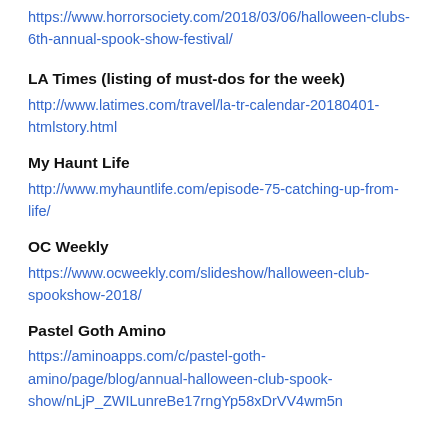https://www.horrorsociety.com/2018/03/06/halloween-clubs-6th-annual-spook-show-festival/
LA Times (listing of must-dos for the week)
http://www.latimes.com/travel/la-tr-calendar-20180401-htmlstory.html
My Haunt Life
http://www.myhauntlife.com/episode-75-catching-up-from-life/
OC Weekly
https://www.ocweekly.com/slideshow/halloween-club-spookshow-2018/
Pastel Goth Amino
https://aminoapps.com/c/pastel-goth-amino/page/blog/annual-halloween-club-spook-show/nLjP_ZWILunreBe17rngYp58xDrVV4wm5n